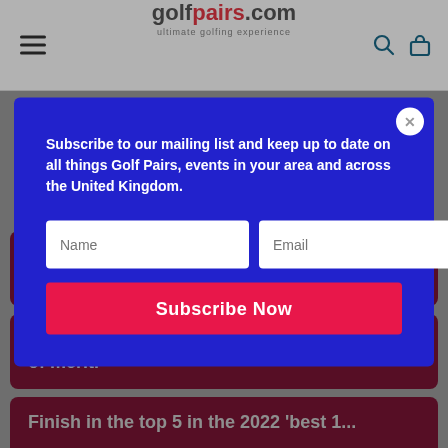golfpairs.com — ultimate golfing experience
→ Hacienda del Alamo Golf & Spa Resort in ...
Subscribe to our mailing list and keep up to date on all things Golf Pairs, events in your area and across the United Kingdom.
Name | Email
Subscribe Now
Finish first place at any Golf Pairs event in 2022.
Finish in the top 5 pairs in the 2022 order of merit.
Finish in the top 5 in the 2022 'best 1...